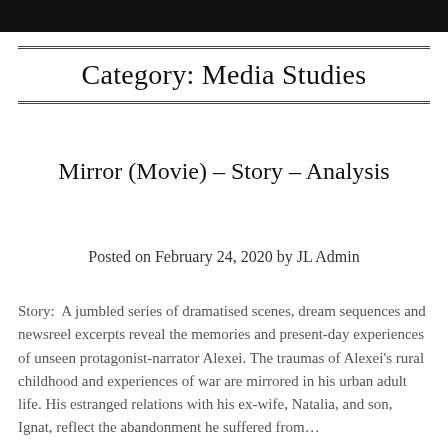Category: Media Studies
Mirror (Movie) – Story – Analysis
Posted on February 24, 2020 by JL Admin
Story:  A jumbled series of dramatised scenes, dream sequences and newsreel excerpts reveal the memories and present-day experiences of unseen protagonist-narrator Alexei. The traumas of Alexei's rural childhood and experiences of war are mirrored in his urban adult life. His estranged relations with his ex-wife, Natalia, and son, Ignat, reflect the abandonment he suffered from…